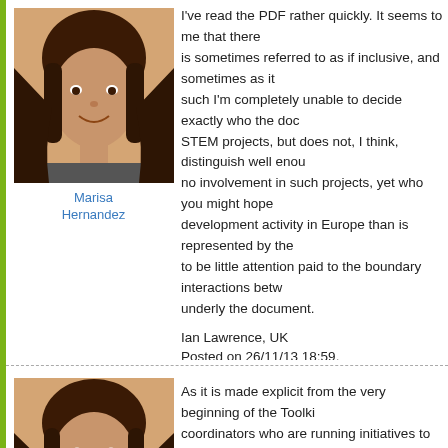[Figure (photo): Profile photo of Marisa Hernandez (first instance) - woman with dark hair, smiling]
Marisa Hernandez
I've read the PDF rather quickly. It seems to me that there is sometimes referred to as if inclusive, and sometimes as it such I'm completely unable to decide exactly who the doc STEM projects, but does not, I think, distinguish well enou no involvement in such projects, yet who you might hope development activity in Europe than is represented by the to be little attention paid to the boundary interactions betw underly the document.
Ian Lawrence, UK
Posted on 26/11/13 18:59.
Post Reply   Top
[Figure (photo): Profile photo of Marisa Hernandez (second instance) - woman with dark hair, smiling]
Marisa Hernandez
As it is made explicit from the very beginning of the Toolki coordinators who are running initiatives to improve learnin (science centres, museums, fairs, events)'. However, this initiatives, at a local, regional, national or EU level. On the other hand, you are right that the document might project as producers and/or disseminators, and those wh be different for each of those target groups and for reduce involving stakeholders in the development of an initiative